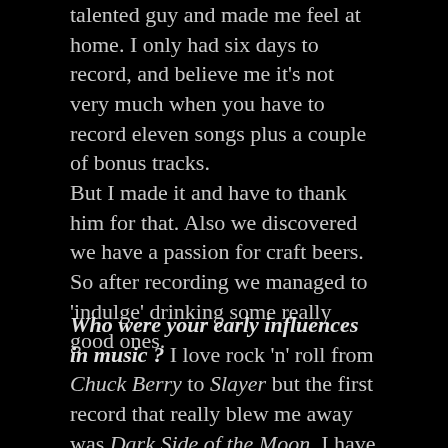talented guy and made me feel at home. I only had six days to record, and believe me it's not very much when you have to record eleven songs plus a couple of bonus tracks.
But I made it and have to thank him for that. Also we discovered we have a passion for craft beers. So after recording we managed to 'indulge' drinking some really good ones.
Who were your early influences in music ? I love rock 'n' roll from Chuck Berry to Slayer but the first record that really blew me away was Dark Side of the Moon. I have memories of me, about 4 or 5 years old, listening constantly to 'On The Run'. The first record I bought, or should I say I asked my father to buy was the Queen album A Night at the Opera.